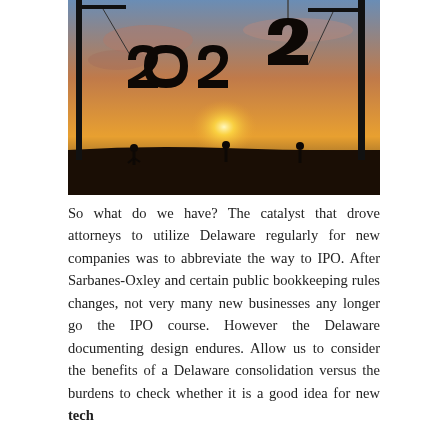[Figure (photo): Silhouettes of construction cranes and workers assembling large '2022' numerals against a dramatic sunset sky, symbolizing building the new year.]
So what do we have? The catalyst that drove attorneys to utilize Delaware regularly for new companies was to abbreviate the way to IPO. After Sarbanes-Oxley and certain public bookkeeping rules changes, not very many new businesses any longer go the IPO course. However the Delaware documenting design endures. Allow us to consider the benefits of a Delaware consolidation versus the burdens to check whether it is a good idea for new tech